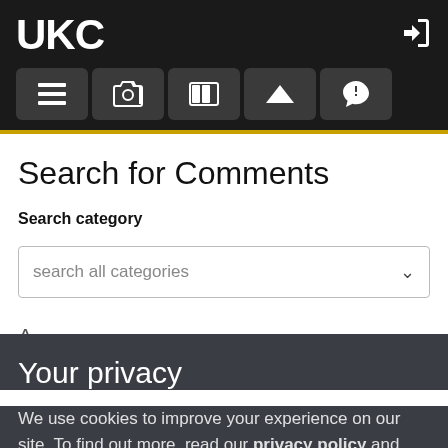UKC
Search for Comments
Search category
search all categories
Your privacy
We use cookies to improve your experience on our site. To find out more, read our privacy policy and cookie policy.
OK  More information